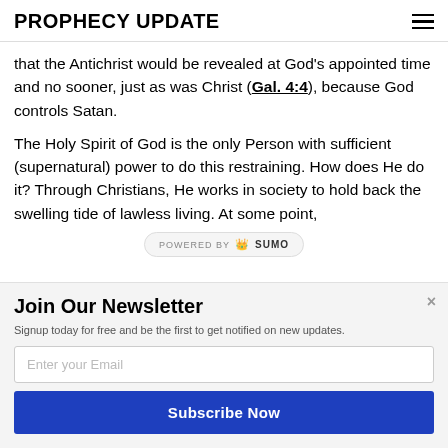PROPHECY UPDATE
that the Antichrist would be revealed at God's appointed time and no sooner, just as was Christ (Gal. 4:4), because God controls Satan.
The Holy Spirit of God is the only Person with sufficient (supernatural) power to do this restraining. How does He do it? Through Christians, He works in society to hold back the swelling tide of lawless living. At some point,
[Figure (other): POWERED BY SUMO badge/banner]
Join Our Newsletter
Signup today for free and be the first to get notified on new updates.
Enter your Email
Subscribe Now